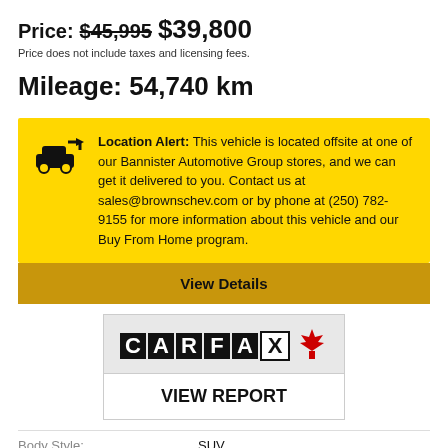Price: $45,995 $39,800
Price does not include taxes and licensing fees.
Mileage: 54,740 km
Location Alert: This vehicle is located offsite at one of our Bannister Automotive Group stores, and we can get it delivered to you. Contact us at sales@brownschev.com or by phone at (250) 782-9155 for more information about this vehicle and our Buy From Home program.
View Details
[Figure (logo): CARFAX Canada logo with maple leaf]
VIEW REPORT
| Body Style: | SUV |
| Engine: | 3.5L 6cyl |
| Exterior Colour: | Grey |
| Transmission: | Automatic |